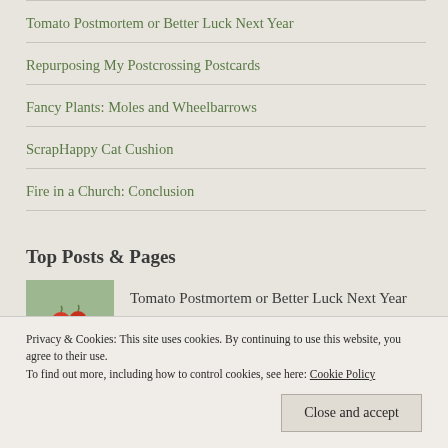Tomato Postmortem or Better Luck Next Year
Repurposing My Postcrossing Postcards
Fancy Plants: Moles and Wheelbarrows
ScrapHappy Cat Cushion
Fire in a Church: Conclusion
Top Posts & Pages
[Figure (photo): Thumbnail photo of tomatoes in a basket]
Tomato Postmortem or Better Luck Next Year
Privacy & Cookies: This site uses cookies. By continuing to use this website, you agree to their use.
To find out more, including how to control cookies, see here: Cookie Policy
Close and accept